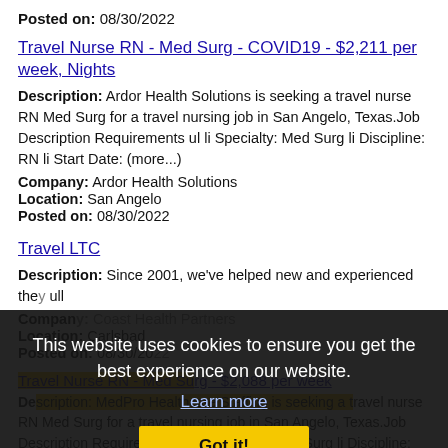Posted on: 08/30/2022
Travel Nurse RN - Med Surg - COVID19 - $2,211 per week, Nights
Description: Ardor Health Solutions is seeking a travel nurse RN Med Surg for a travel nursing job in San Angelo, Texas.Job Description Requirements ul li Specialty: Med Surg li Discipline: RN li Start Date: (more...)
Company: Ardor Health Solutions
Location: San Angelo
Posted on: 08/30/2022
Travel LTC
Description: Since 2001, we've helped new and experienced the ... ull Company: Coast Health Partners Location: Carlsbad Posted on: 08/30/20...
This website uses cookies to ensure you get the best experience on our website.
Learn more
Got it!
Travel Nurse RN - Med Surg - $2,088 per week
Description: MedPro Healthcare Staffing is seeking a travel nurse RN Med Surg for a travel nursing job in San Angelo, Texas.Job Description Requirements ul li Specialty: Med Surg li Discipline: RN li Start (more...)